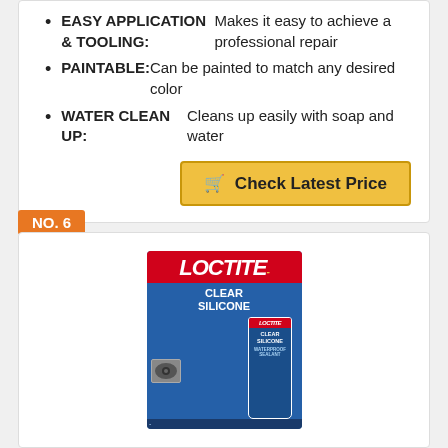EASY APPLICATION & TOOLING: Makes it easy to achieve a professional repair
PAINTABLE: Can be painted to match any desired color
WATER CLEAN UP: Cleans up easily with soap and water
Check Latest Price
NO. 6
[Figure (photo): Loctite Clear Silicone Waterproof Sealant product packaging, blue box with red Loctite logo and a small tube of the product shown beside the box.]